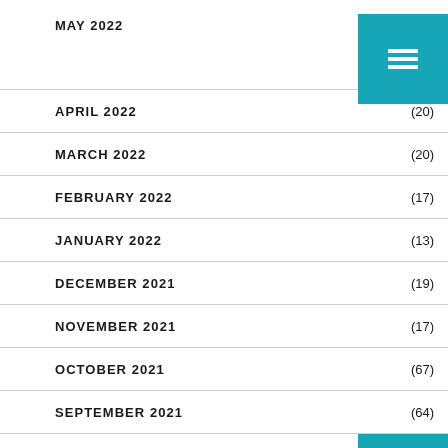MAY 2022
APRIL 2022 (20)
MARCH 2022 (20)
FEBRUARY 2022 (17)
JANUARY 2022 (13)
DECEMBER 2021 (19)
NOVEMBER 2021 (17)
OCTOBER 2021 (67)
SEPTEMBER 2021 (64)
AUGUST 2021